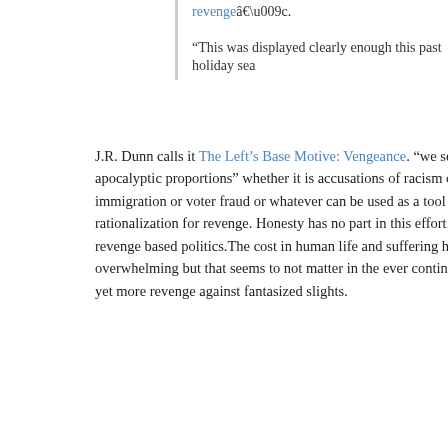revengeâ€.
“This was displayed clearly enough this past holiday sea
J.R. Dunn calls it The Left’s Base Motive: Vengeance. “we see t to apocalyptic proportions” whether it is accusations of racism o immigration or voter fraud or whatever can be used as a tool to i rationalization for revenge. Honesty has no part in this effort. Tha revenge based politics.The cost in human life and suffering has overwhelming but that seems to not matter in the ever continuing yet more revenge against fantasized slights.
Leave a Comment
January 2, 2015 · Filed under Issues, politics, Religion
Copyright © 2015 Whispers. Powered by WordPress and A Dream to Host them